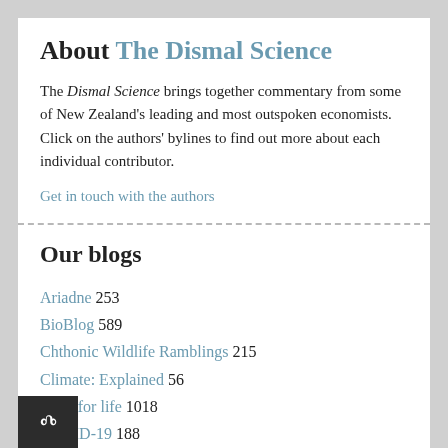About The Dismal Science
The Dismal Science brings together commentary from some of New Zealand's leading and most outspoken economists. Click on the authors' bylines to find out more about each individual contributor.
Get in touch with the authors
Our blogs
Ariadne 253
BioBlog 589
Chthonic Wildlife Ramblings 215
Climate: Explained 56
Code for life 1018
COVID-19 188
Diplomatic Immunity 73
Field Work 53